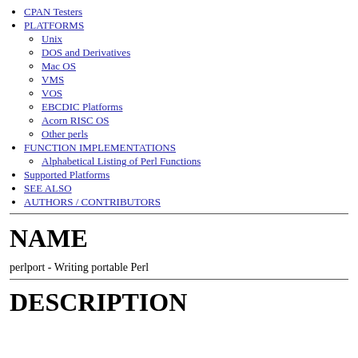CPAN Testers
PLATFORMS
Unix
DOS and Derivatives
Mac OS
VMS
VOS
EBCDIC Platforms
Acorn RISC OS
Other perls
FUNCTION IMPLEMENTATIONS
Alphabetical Listing of Perl Functions
Supported Platforms
SEE ALSO
AUTHORS / CONTRIBUTORS
NAME
perlport - Writing portable Perl
DESCRIPTION